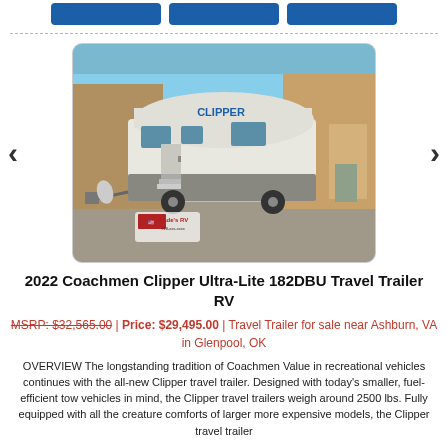[Figure (photo): Photo of a 2022 Coachmen Clipper Ultra-Lite 182DBU Travel Trailer RV parked outside a building, with 'CLIPPER' branding visible on the side. Wade's RV logo watermark in lower left corner.]
2022 Coachmen Clipper Ultra-Lite 182DBU Travel Trailer RV
MSRP: $32,565.00 | Price: $29,495.00 | Travel Trailer for sale near Ashburn, VA in Glenpool, OK
OVERVIEW The longstanding tradition of Coachmen Value in recreational vehicles continues with the all-new Clipper travel trailer. Designed with today's smaller, fuel-efficient tow vehicles in mind, the Clipper travel trailers weigh around 2500 lbs. Fully equipped with all the creature comforts of larger more expensive models, the Clipper travel trailer